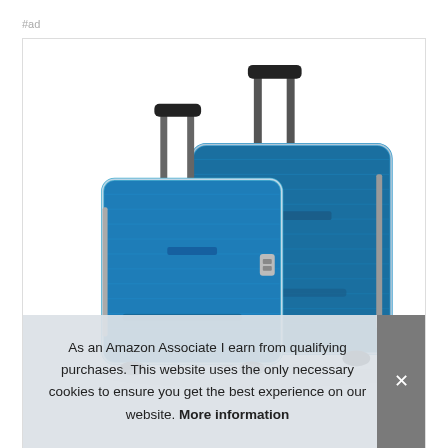#ad
[Figure (photo): Two blue hard-shell spinner suitcases with telescoping handles extended, photographed against a white background. One smaller carry-on and one larger checked bag, both metallic teal/blue color.]
As an Amazon Associate I earn from qualifying purchases. This website uses the only necessary cookies to ensure you get the best experience on our website. More information